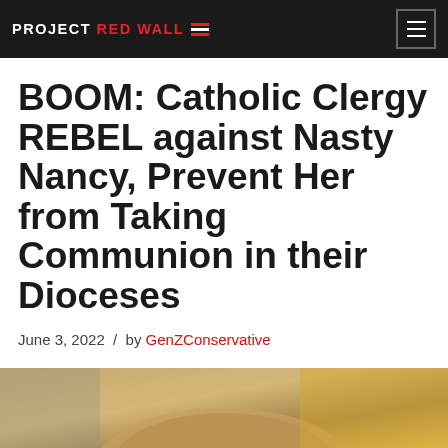PROJECT RED WALL
BOOM: Catholic Clergy REBEL against Nasty Nancy, Prevent Her from Taking Communion in their Dioceses
June 3, 2022 / by GenZConservative
[Figure (photo): Bottom portion of page showing the top of a person's head with blonde hair, partial crowd visible in background with yellow tones]